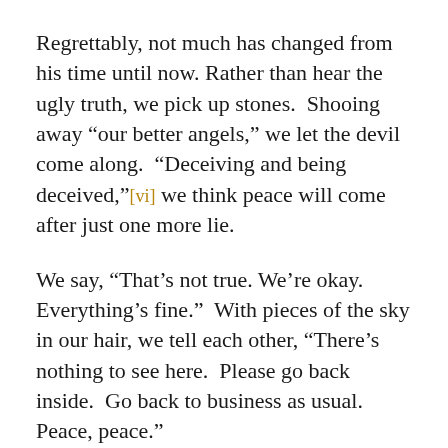Regrettably, not much has changed from his time until now. Rather than hear the ugly truth, we pick up stones.  Shooing away “our better angels,” we let the devil come along.  “Deceiving and being deceived,”[vi] we think peace will come after just one more lie.
We say, “That’s not true. We’re okay. Everything’s fine.”  With pieces of the sky in our hair, we tell each other, “There’s nothing to see here.  Please go back inside.  Go back to business as usual.  Peace, peace.”
Prophet- preachers find themselves in a familiar tough spot. Walter Brueggeman said there are